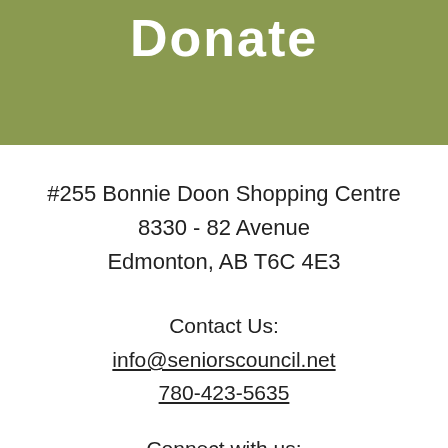Donate
#255 Bonnie Doon Shopping Centre
8330 - 82 Avenue
Edmonton, AB T6C 4E3
Contact Us:
info@seniorscouncil.net
780-423-5635
Connect with us:
Sign up for Link Letter
[Figure (logo): Facebook and Twitter social media icons]